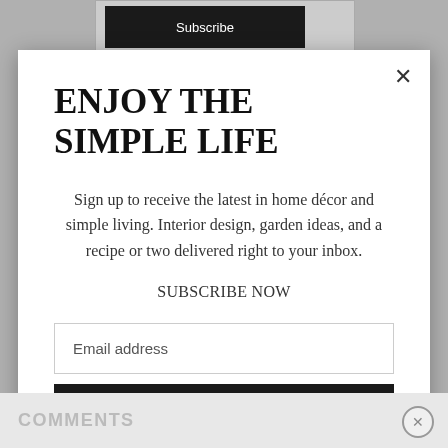ENJOY THE SIMPLE LIFE
Sign up to receive the latest in home décor and simple living. Interior design, garden ideas, and a recipe or two delivered right to your inbox.
SUBSCRIBE NOW
Email address
Subscribe
COMMENTS